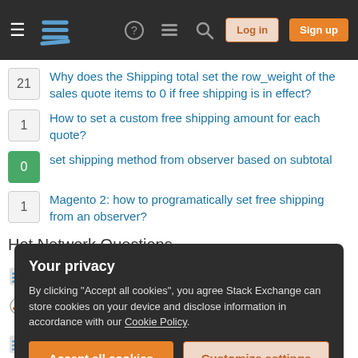Stack Exchange navigation bar with Log in and Sign up buttons
21 Why does the Shipping total set the row_weight of the sales quote items to 0 if free shipping is in effect?
1 How to set a custom free shipping amount for each quote?
0 set shipping method from observer based on subtotal
1 Magento 2: how to programatically set free shipping from an observer?
Hot Network Questions
What does the term Other Revenue mean?
Is this graph a tree?
Your privacy
By clicking "Accept all cookies", you agree Stack Exchange can store cookies on your device and disclose information in accordance with our Cookie Policy.
Accept all cookies  Customize settings
doesn't have a closed form?